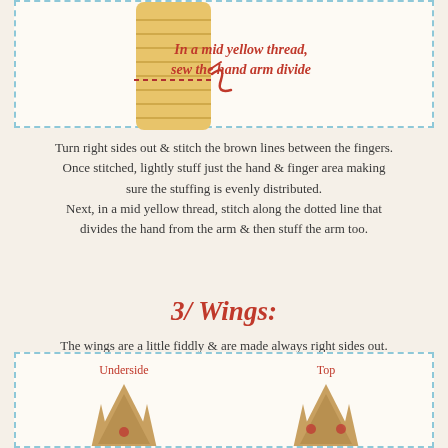[Figure (illustration): Illustration of an arm/hand piece with dashed stitch line and red thread, with text 'In a mid yellow thread, sew the hand arm divide' in red bold italic inside a dashed border box]
Turn right sides out & stitch the brown lines between the fingers. Once stitched, lightly stuff just the hand & finger area making sure the stuffing is evenly distributed. Next, in a mid yellow thread, stitch along the dotted line that divides the hand from the arm & then stuff the arm too.
3/ Wings:
The wings are a little fiddly & are made always right sides out. Cut out all WING pieces, adding extra seam allowance when ever possible. Then iron each wing onto the Fusible Fleece. Next with the white thread sew (preferably with a machine) over these dotted lines on each WING piece. (Dotted lines are pale coloured on the actual Cut'n'Sew panel)
[Figure (illustration): Illustration showing two wing pieces labeled 'Underside' and 'Top' inside a dashed border box, with golden-tan colored wing shapes]